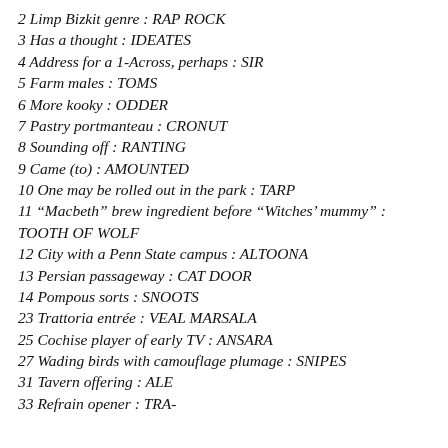2 Limp Bizkit genre : RAP ROCK
3 Has a thought : IDEATES
4 Address for a 1-Across, perhaps : SIR
5 Farm males : TOMS
6 More kooky : ODDER
7 Pastry portmanteau : CRONUT
8 Sounding off : RANTING
9 Came (to) : AMOUNTED
10 One may be rolled out in the park : TARP
11 “Macbeth” brew ingredient before “Witches’ mummy” : TOOTH OF WOLF
12 City with a Penn State campus : ALTOONA
13 Persian passageway : CAT DOOR
14 Pompous sorts : SNOOTS
23 Trattoria entrée : VEAL MARSALA
25 Cochise player of early TV : ANSARA
27 Wading birds with camouflage plumage : SNIPES
31 Tavern offering : ALE
33 Refrain opener : TRA-